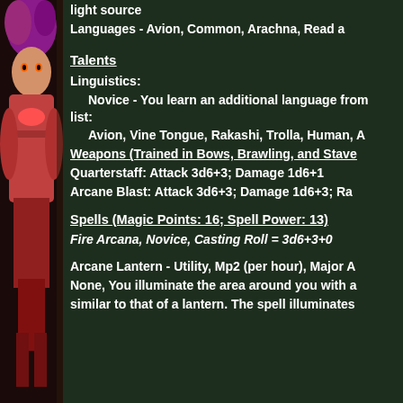light source
Languages - Avion,  Common, Arachna, Read a
Talents
Linguistics:
Novice - You learn an additional language from list:
Avion, Vine Tongue, Rakashi, Trolla, Human, A
Weapons (Trained in Bows, Brawling, and Stave
Quarterstaff: Attack 3d6+3; Damage 1d6+1
Arcane Blast: Attack 3d6+3; Damage 1d6+3; Ra
Spells (Magic Points: 16; Spell Power: 13)
Fire Arcana, Novice, Casting Roll = 3d6+3+0
Arcane Lantern - Utility, Mp2 (per hour), Major A
None, You illuminate the area around you with a
similar to that of a lantern. The spell illuminates